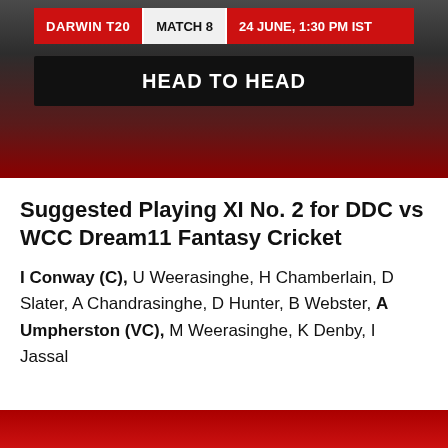[Figure (infographic): Cricket match banner showing DARWIN T20 | MATCH 8 | 24 JUNE, 1:30 PM IST header bar in red/white, and HEAD TO HEAD section on dark gradient background]
Suggested Playing XI No. 2 for DDC vs WCC Dream11 Fantasy Cricket
I Conway (C), U Weerasinghe, H Chamberlain, D Slater, A Chandrasinghe, D Hunter, B Webster, A Umpherston (VC), M Weerasinghe, K Denby, I Jassal